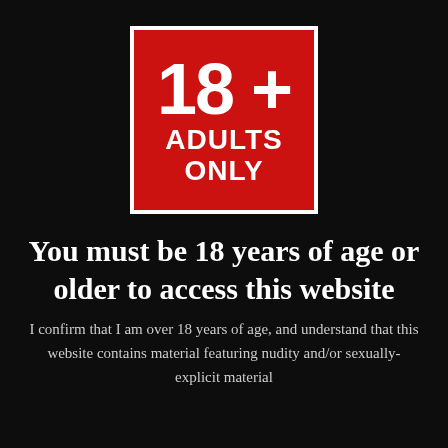[Figure (logo): Red square badge with white border containing '18+' in large bold text and 'ADULTS ONLY' below in bold white text on red background]
You must be 18 years of age or older to access this website
I confirm that I am over 18 years of age, and understand that this website contains material featuring nudity and/or sexually-explicit material